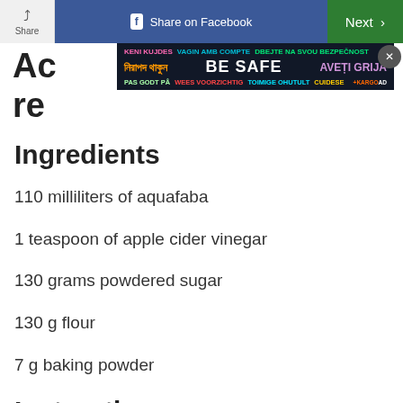[Figure (screenshot): Top navigation bar with Share button, Share on Facebook button (blue), and Next button (green)]
[Figure (infographic): BE SAFE multilingual safety advertisement banner with colorful text in multiple languages including Bengali, Dutch, Estonian, Romanian, Czech. Kargo AD badge in bottom right.]
Ac... re...
Ingredients
110 milliliters of aquafaba
1 teaspoon of apple cider vinegar
130 grams powdered sugar
130 g flour
7 g baking powder
Instructions